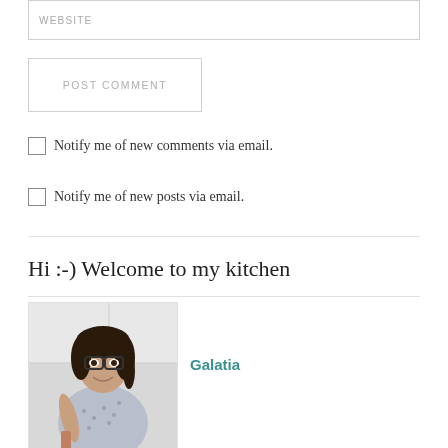WEBSITE
POST COMMENT
Notify me of new comments via email.
Notify me of new posts via email.
Hi :-) Welcome to my kitchen
[Figure (photo): Photo of Galatia, a woman with dark hair and glasses, smiling in a kitchen setting, wearing a floral top]
Galatia